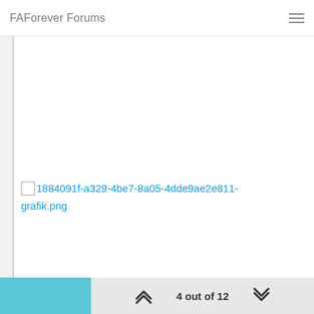FAForever Forums
[Figure (other): Broken image link placeholder showing filename: 1884091f-a329-4be7-8a05-4dde9ae2e811-grafik.png]
4 out of 12